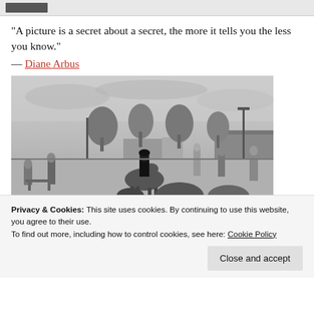[site logo/header bar]
“A picture is a secret about a secret, the more it tells you the less you know.”
— Diane Arbus
[Figure (photo): Black and white photograph of a person riding a horse at an outdoor equestrian event, with trees, poles, buildings, and spectators visible in the background.]
Privacy & Cookies: This site uses cookies. By continuing to use this website, you agree to their use.
To find out more, including how to control cookies, see here: Cookie Policy
Close and accept